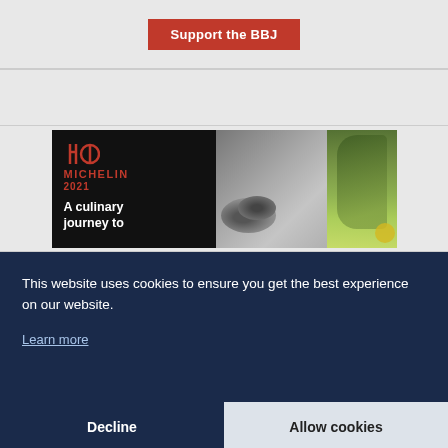[Figure (other): Red button labeled 'Support the BBJ' on a light gray background]
[Figure (other): Michelin 2021 advertisement: 'A culinary journey to' with Michelin logo on dark background with food/herb imagery (stones and green herbs)]
This website uses cookies to ensure you get the best experience on our website.
Learn more
Decline
Allow cookies